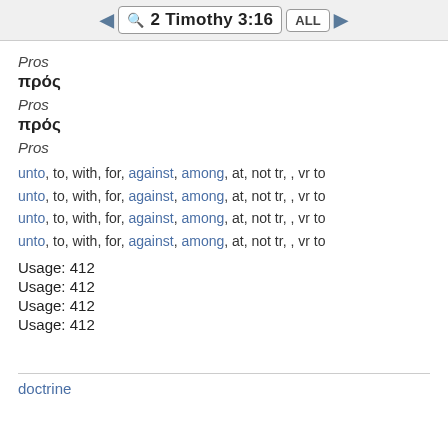2 Timothy 3:16 ALL
Pros
πρός
Pros
πρός
Pros
unto, to, with, for, against, among, at, not tr, , vr to
unto, to, with, for, against, among, at, not tr, , vr to
unto, to, with, for, against, among, at, not tr, , vr to
unto, to, with, for, against, among, at, not tr, , vr to
Usage: 412
Usage: 412
Usage: 412
Usage: 412
doctrine